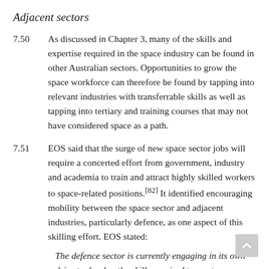Adjacent sectors
7.50    As discussed in Chapter 3, many of the skills and expertise required in the space industry can be found in other Australian sectors. Opportunities to grow the space workforce can therefore be found by tapping into relevant industries with transferrable skills as well as tapping into tertiary and training courses that may not have considered space as a path.
7.51    EOS said that the surge of new space sector jobs will require a concerted effort from government, industry and academia to train and attract highly skilled workers to space-related positions.[82] It identified encouraging mobility between the space sector and adjacent industries, particularly defence, as one aspect of this skilling effort. EOS stated:
The defence sector is currently engaging in its own drive to develop the skills required to meet